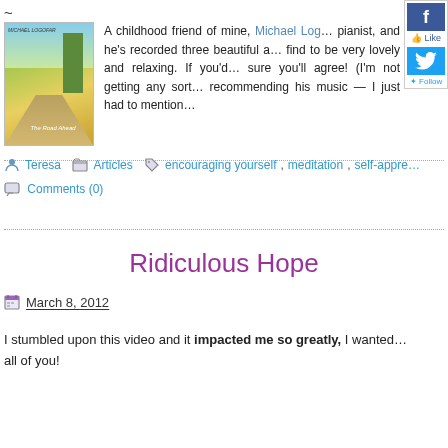~
[Figure (photo): Album cover showing a road through fields, trees in background]
A childhood friend of mine, Michael Log... pianist, and he's recorded three beautiful a... find to be very lovely and relaxing. If you'd... sure you'll agree! (I'm not getting any sort... recommending his music — I just had to mention...
[Figure (logo): Facebook Like button widget]
[Figure (logo): Twitter Follow button widget]
Teresa   Articles   encouraging yourself, meditation, self-appre...
Comments (0)
Ridiculous Hope
March 8, 2012
I stumbled upon this video and it impacted me so greatly, I wanted... all of you!